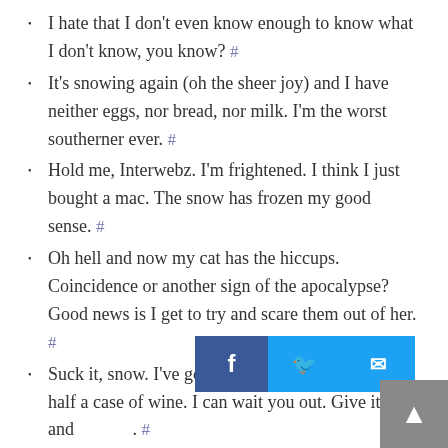I hate that I don't even know enough to know what I don't know, you know? #
It's snowing again (oh the sheer joy) and I have neither eggs, nor bread, nor milk. I'm the worst southerner ever. #
Hold me, Interwebz. I'm frightened. I think I just bought a mac. The snow has frozen my good sense. #
Oh hell and now my cat has the hiccups. Coincidence or another sign of the apocalypse? Good news is I get to try and scare them out of her. #
Suck it, snow. I've got a whole bag of cashews and half a case of wine. I can wait you out. Give it up and [obscured]. #
Writing a post [obscured] t you people